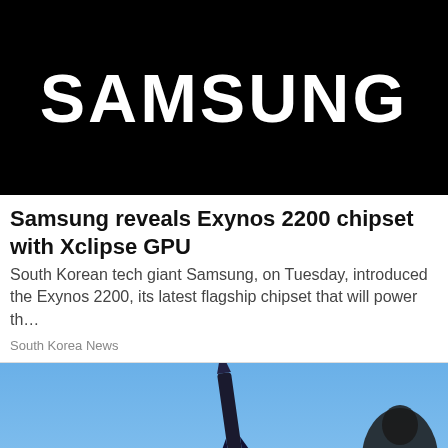[Figure (logo): Samsung logo — white text on black background]
Samsung reveals Exynos 2200 chipset with Xclipse GPU
South Korean tech giant Samsung, on Tuesday, introduced the Exynos 2200, its latest flagship chipset that will power th…
South Korea News
[Figure (photo): Photo of a rocket launching against a blue sky background, with a person visible in the lower right corner]